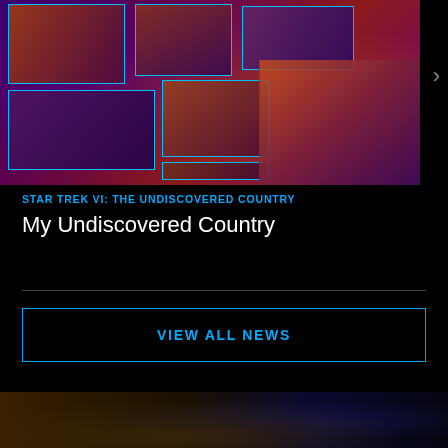[Figure (photo): Star Trek VI: The Undiscovered Country collage image with multiple screen panels showing characters and a starship, rendered in purple/red/orange heat-map tones on a dark background]
STAR TREK VI: THE UNDISCOVERED COUNTRY
My Undiscovered Country
VIEW ALL NEWS
[Figure (photo): Partial bottom strip showing a dark scene with warm brown tones on the left and blue tones on the right]